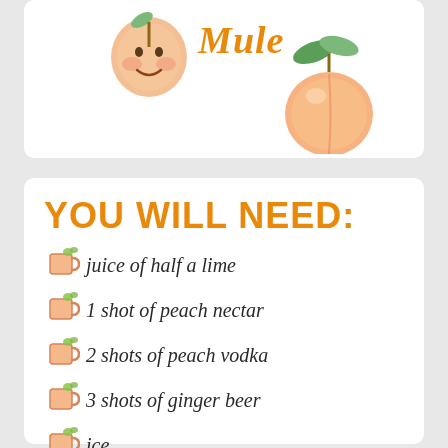[Figure (illustration): Top card with watercolor peach face on left, 'Mule' text in orange italic font in center, and large watercolor peach with green leaves on the right]
YOU WILL NEED:
juice of half a lime
1 shot of peach nectar
2 shots of peach vodka
3 shots of ginger beer
ice
Optional: Peach or lime slice as garnish.